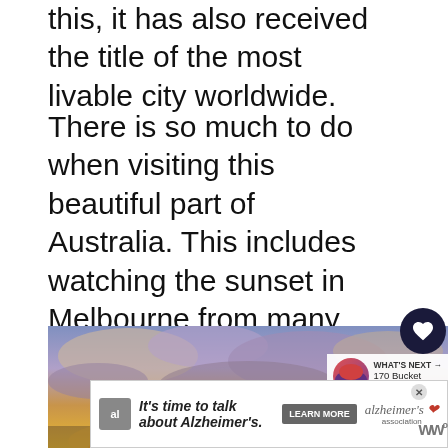this, it has also received the title of the most livable city worldwide.
There is so much to do when visiting this beautiful part of Australia. This includes watching the sunset in Melbourne from many spectacular spots. Here are 18 of the best places to watch the sunset over Melbourne
[Figure (photo): A scenic photo of a dramatic sunset sky with clouds over Melbourne, warm golden and purple tones]
WHAT'S NEXT → 170 Bucket List Ideas fo...
[Figure (infographic): Advertisement banner: It's time to talk about Alzheimer's. Alzheimer's Association. Learn More button.]